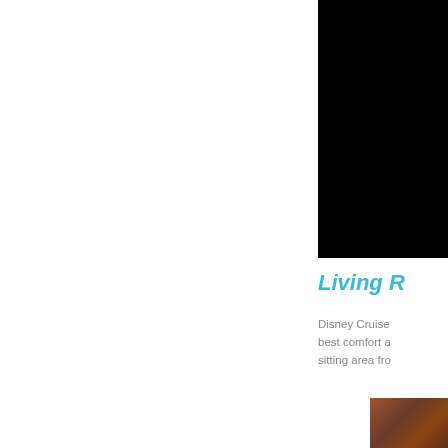[Figure (photo): Dark/black photo panel at top right of page, appears to be a cruise ship interior or exterior night shot]
Living R
Disney Cruise best comfort a sitting area fro
[Figure (photo): Small bottom right photo showing wooden furniture or decking in warm brown tones]